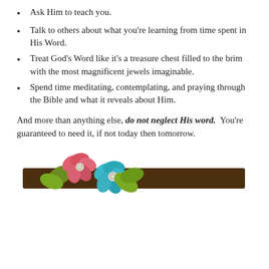Ask Him to teach you.
Talk to others about what you're learning from time spent in His Word.
Treat God's Word like it's a treasure chest filled to the brim with the most magnificent jewels imaginable.
Spend time meditating, contemplating, and praying through the Bible and what it reveals about Him.
And more than anything else, do not neglect His word. You're guaranteed to need it, if not today then tomorrow.
[Figure (photo): Decorative image of fabric flowers (pink and teal) on a brown leather-look band/bar, used as a section divider.]